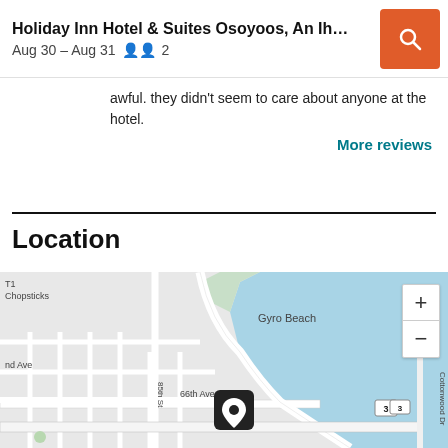Holiday Inn Hotel & Suites Osoyoos, An Ihg H... Aug 30 – Aug 31  2
awful. they didn't seem to care about anyone at the hotel.
More reviews
Location
[Figure (map): Map showing Osoyoos area with Gyro Beach, 85th St, 66th Ave, Cottonwood Dr, and a location pin near the river/lake. Zoom in/out controls visible on right.]